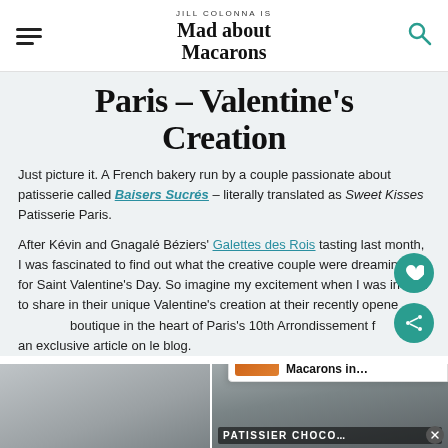JILL COLONNA IS Mad about Macarons
Paris – Valentine's Creation
Just picture it. A French bakery run by a couple passionate about patisserie called Baisers Sucrés – literally translated as Sweet Kisses Patisserie Paris.
After Kévin and Gnagalé Béziers' Galettes des Rois tasting last month, I was fascinated to find out what the creative couple were dreaming up for Saint Valentine's Day. So imagine my excitement when I was invited to share in their unique Valentine's creation at their recently opened boutique in the heart of Paris's 10th Arrondissement f an exclusive article on le blog.
[Figure (photo): Two photos at the bottom: left shows a Parisian street/building scene in winter; right shows a patisserie/chocolatier shopfront with sign reading PATISSIER CHOCCO...]
WHAT'S NEXT → Best Macarons in...